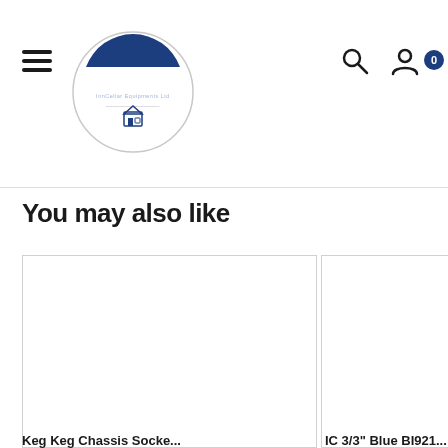[Figure (logo): ICE InnCellar Equipments Ltd circular logo with blue and white design]
You may also like
[Figure (photo): Product card image (left) - empty white product image]
[Figure (photo): Product card image (right, partial) - empty white product image]
Keg Keg Chassis Socket...
IC 3/3" Blue BI9810...